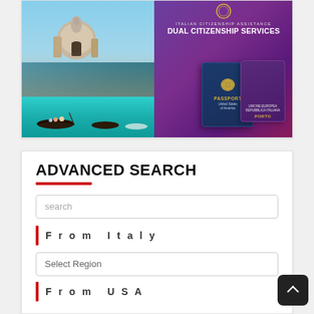[Figure (illustration): Italian Citizenship Assistance – Dual Citizenship Services banner. Left half shows a photo of Venice (Santa Maria della Salute basilica, gondolas on the canal). Right half has a purple gradient background with two passports (US and Italian) and the text 'ITALIAN CITIZENSHIP ASSISTANCE / DUAL CITIZENSHIP SERVICES'.]
ADVANCED SEARCH
search
From Italy
Select Region
From USA